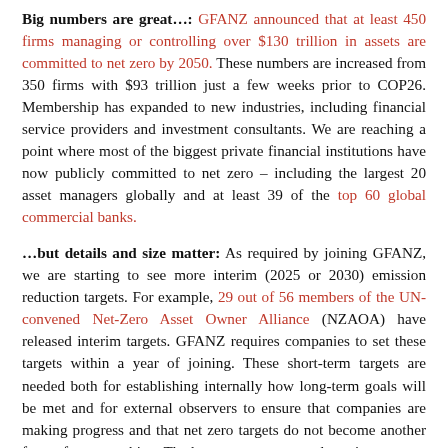Big numbers are great…: GFANZ announced that at least 450 firms managing or controlling over $130 trillion in assets are committed to net zero by 2050. These numbers are increased from 350 firms with $93 trillion just a few weeks prior to COP26. Membership has expanded to new industries, including financial service providers and investment consultants. We are reaching a point where most of the biggest private financial institutions have now publicly committed to net zero – including the largest 20 asset managers globally and at least 39 of the top 60 global commercial banks.
…but details and size matter: As required by joining GFANZ, we are starting to see more interim (2025 or 2030) emission reduction targets. For example, 29 out of 56 members of the UN-convened Net-Zero Asset Owner Alliance (NZAOA) have released interim targets. GFANZ requires companies to set these targets within a year of joining. These short-term targets are needed both for establishing internally how long-term goals will be met and for external observers to ensure that companies are making progress and that net zero targets do not become another form of greenwashing. The latest progress towards setting